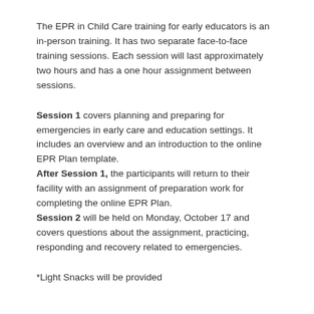The EPR in Child Care training for early educators is an in-person training. It has two separate face-to-face training sessions. Each session will last approximately two hours and has a one hour assignment between sessions.
Session 1 covers planning and preparing for emergencies in early care and education settings. It includes an overview and an introduction to the online EPR Plan template. After Session 1, the participants will return to their facility with an assignment of preparation work for completing the online EPR Plan. Session 2 will be held on Monday, October 17 and covers questions about the assignment, practicing, responding and recovery related to emergencies.
*Light Snacks will be provided